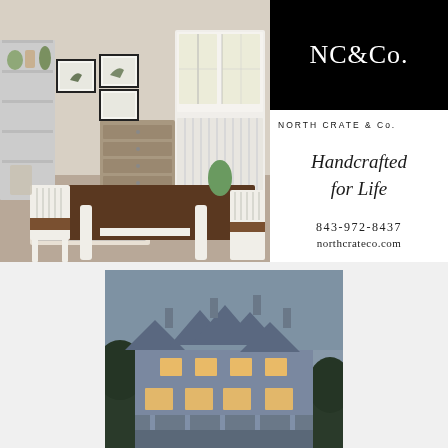[Figure (photo): Interior room scene with farmhouse dining table, white slat chairs, a white china cabinet/hutch in background, gray dresser, shelving unit with plants and decor, framed bird prints on wall, patterned rug]
[Figure (logo): NC&Co. logo in white text on black background]
NORTH CRATE & Co.
Handcrafted for Life
843-972-8437
northcrateco.com
[Figure (photo): Exterior twilight photo of a large traditional/colonial style house with multiple dormers and chimneys, warm glowing windows, surrounded by trees]